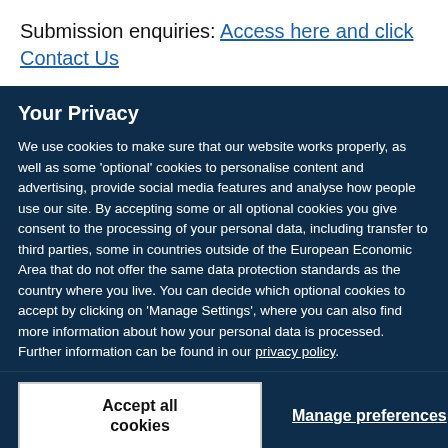Submission enquiries: Access here and click Contact Us
Your Privacy
We use cookies to make sure that our website works properly, as well as some 'optional' cookies to personalise content and advertising, provide social media features and analyse how people use our site. By accepting some or all optional cookies you give consent to the processing of your personal data, including transfer to third parties, some in countries outside of the European Economic Area that do not offer the same data protection standards as the country where you live. You can decide which optional cookies to accept by clicking on 'Manage Settings', where you can also find more information about how your personal data is processed. Further information can be found in our privacy policy.
Accept all cookies
Manage preferences